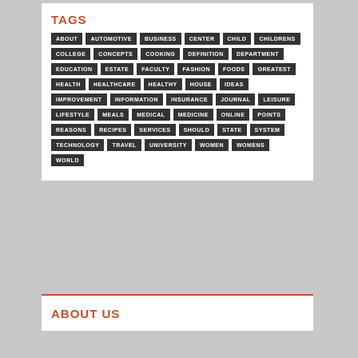TAGS
ABOUT
AUTOMOTIVE
BUSINESS
CENTER
CHILD
CHILDRENS
COLLEGE
CONCEPTS
COOKING
DEFINITION
DEPARTMENT
EDUCATION
ESTATE
FACULTY
FASHION
FOODS
GREATEST
HEALTH
HEALTHCARE
HEALTHY
HOUSE
IDEAS
IMPROVEMENT
INFORMATION
INSURANCE
JOURNAL
LEISURE
LIFESTYLE
MEALS
MEDICAL
MEDICINE
ONLINE
POINTS
REASONS
RECIPES
SERVICES
SHOULD
STATE
SYSTEM
TECHNOLOGY
TRAVEL
UNIVERSITY
WOMEN
WOMENS
WORLD
ABOUT US